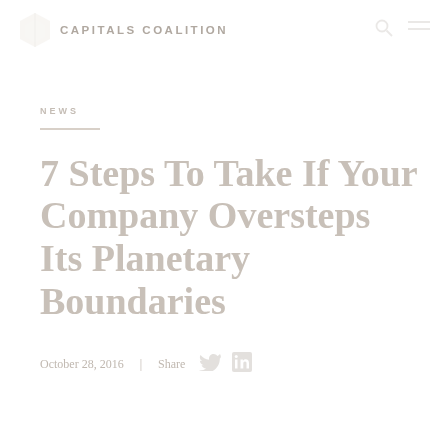CAPITALS COALITION
NEWS
7 Steps To Take If Your Company Oversteps Its Planetary Boundaries
October 28, 2016  |  Share